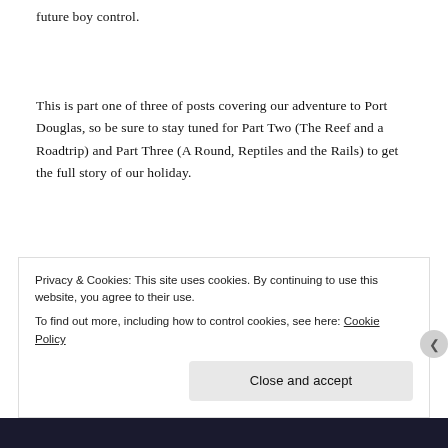future boy control.
This is part one of three of posts covering our adventure to Port Douglas, so be sure to stay tuned for Part Two (The Reef and a Roadtrip) and Part Three (A Round, Reptiles and the Rails) to get the full story of our holiday.
The best place to follow Josh’s adventures with his family is on his Instagram site @josh.duthie. You can see this post and more Adventures of Duth by
Privacy & Cookies: This site uses cookies. By continuing to use this website, you agree to their use.
To find out more, including how to control cookies, see here: Cookie Policy
Close and accept